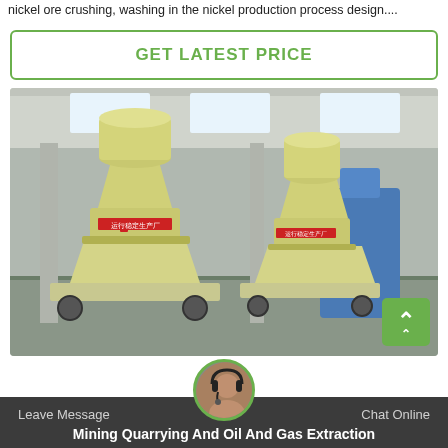nickel ore crushing, washing in the nickel production process design....
GET LATEST PRICE
[Figure (photo): Industrial cone crusher machines (beige/cream colored) on a factory floor inside a large warehouse. Two large cone crushers are visible with Chinese text on them, positioned on wheeled bases. Blue machinery visible in background.]
Leave Message   Chat Online   Mining Quarrying And Oil And Gas Extraction